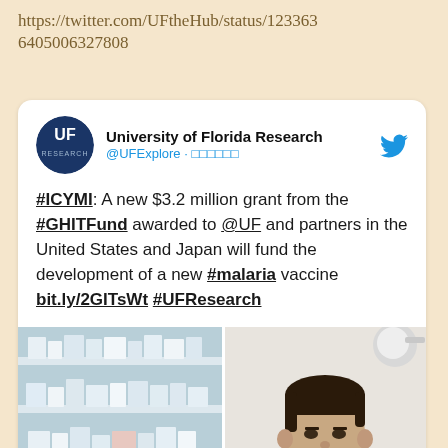https://twitter.com/UFtheHub/status/123363 6405006327808
[Figure (screenshot): A Twitter/social media card from University of Florida Research (@UFExplore) about a $3.2 million grant from the #GHITFund awarded to @UF and partners in the United States and Japan to fund development of a new #malaria vaccine. The tweet includes a split image showing laboratory shelves on the left and a male researcher on the right.]